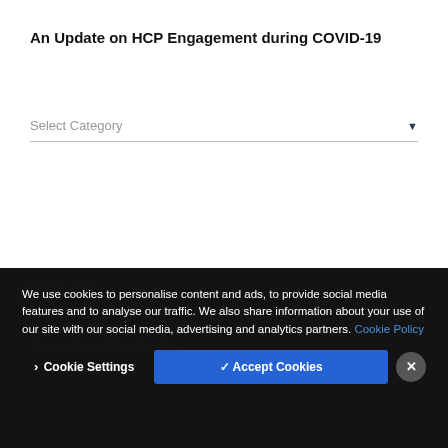An Update on HCP Engagement during COVID-19
Select Category
INSIGHTS
Cradle of hint romantic songs
The Highlights from JPM 2021
Top Healthcare Marketing Rev...
We use cookies to personalise content and ads, to provide social media features and to analyse our traffic. We also share information about your use of our site with our social media, advertising and analytics partners. Cookie Policy
Cookie Settings
✓ Accept Cookies